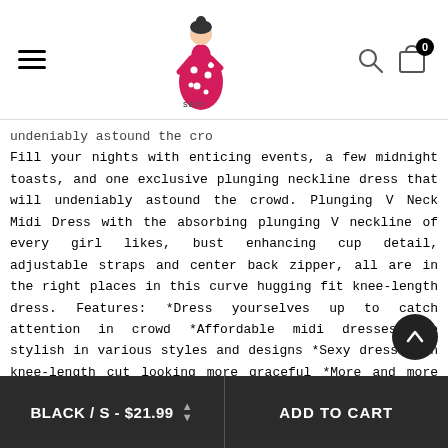Sexy Affordable — navigation header with hamburger menu, logo, search and cart icons
undeniably astound the cro
Fill your nights with enticing events, a few midnight toasts, and one exclusive plunging neckline dress that will undeniably astound the crowd. Plunging V Neck Midi Dress with the absorbing plunging V neckline of every girl likes, bust enhancing cup detail, adjustable straps and center back zipper, all are in the right places in this curve hugging fit knee-length dress. Features: *Dress yourselves up to catch attention in crowd *Affordable midi dresses are stylish in various styles and designs *Sexy dresses in knee-length cut looking more graceful *More and more popular among people to different occasions | Size Chart (CM): | / Option Bust Waist Hip ength Relax tretched Relax tretched Relax tretched Relax 83 82 67 78 93 107 117 88 101 72 86 98 112 118 93 108 77 90 103 114 120 L 99 119
BLACK / S - $21.99  |  ADD TO CART